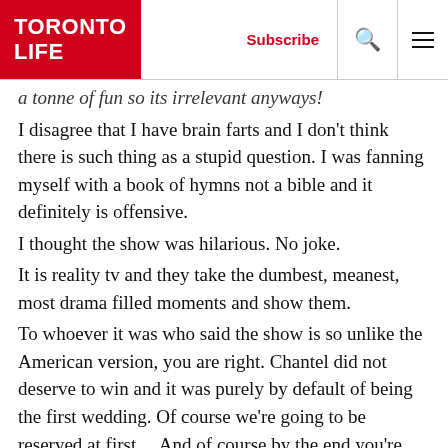TORONTO LIFE | Subscribe
a tonne of fun so its irrelevant anyways!
I disagree that I have brain farts and I don't think there is such thing as a stupid question. I was fanning myself with a book of hymns not a bible and it definitely is offensive.
I thought the show was hilarious. No joke.
It is reality tv and they take the dumbest, meanest, most drama filled moments and show them.
To whoever it was who said the show is so unlike the American version, you are right. Chantel did not deserve to win and it was purely by default of being the first wedding. Of course we're going to be reserved at first… And of course by the end you're going to be a total cut throat bitch. Big deal. I disagree however, that they didn't do a scoring after all the weddings were done. This is what they do in the US and UK and the fact that the Canadian version didn't is the only reason Chantel won.
I personally don't give a rats ass that I didn't win because who